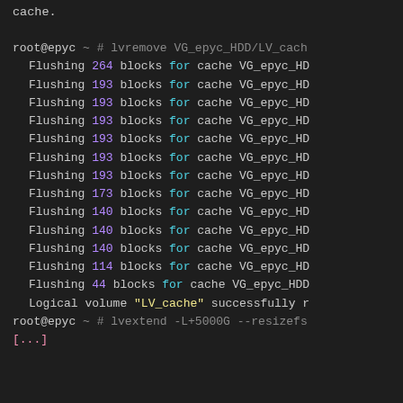cache.
[Figure (screenshot): Terminal output showing lvremove command flushing blocks for cache VG_epyc_HDD/LV_cache, followed by lvextend command. Lines show Flushing 264, 193 (x6), 173, 140 (x3), 114, 44 blocks for cache, then 'Logical volume "LV_cache" successfully removed', then lvextend -L+5000G --resizefs command and [...]]